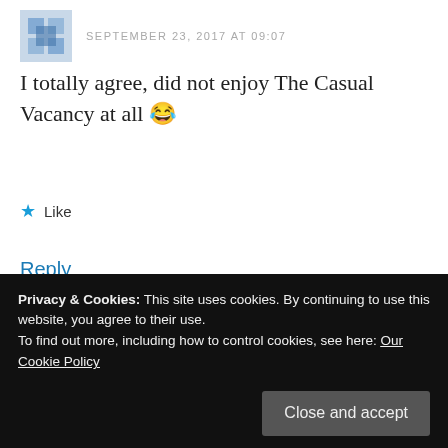SEPTEMBER 23, 2017 AT 09:07
I totally agree, did not enjoy The Casual Vacancy at all 😂
★ Like
Reply
Advertisements
[Figure (logo): WooCommerce advertisement banner with purple gradient background and WooCommerce logo]
Privacy & Cookies: This site uses cookies. By continuing to use this website, you agree to their use.
To find out more, including how to control cookies, see here: Our Cookie Policy